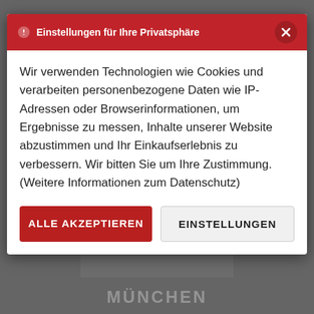[Figure (screenshot): Background showing a greyscale book cover image with text 'Piles of Earth and Rubble' and 'MÜNCHEN' at the bottom, partially visible behind a cookie consent modal overlay.]
Einstellungen für Ihre Privatsphäre
Wir verwenden Technologien wie Cookies und verarbeiten personenbezogene Daten wie IP-Adressen oder Browserinformationen, um Ergebnisse zu messen, Inhalte unserer Website abzustimmen und Ihr Einkaufserlebnis zu verbessern. Wir bitten Sie um Ihre Zustimmung. (Weitere Informationen zum Datenschutz)
ALLE AKZEPTIEREN
EINSTELLUNGEN